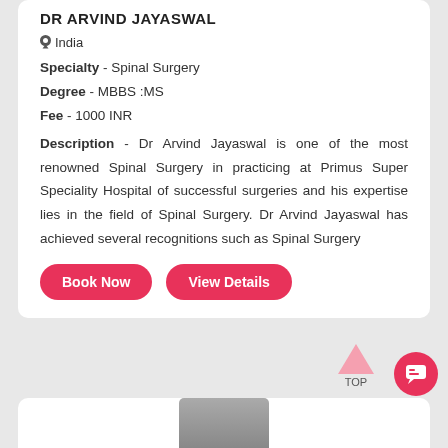DR ARVIND JAYASWAL
India
Specialty - Spinal Surgery
Degree - MBBS :MS
Fee - 1000 INR
Description - Dr Arvind Jayaswal is one of the most renowned Spinal Surgery in practicing at Primus Super Speciality Hospital of successful surgeries and his expertise lies in the field of Spinal Surgery. Dr Arvind Jayaswal has achieved several recognitions such as Spinal Surgery
Book Now
View Details
[Figure (photo): Partially visible photo of a person at bottom of page]
TOP